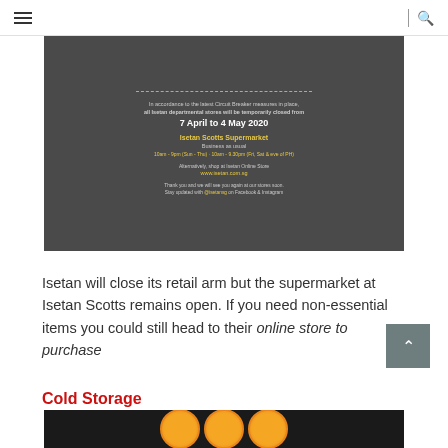☰ | 🔍
[Figure (photo): Dark grey banner from Isetan announcing temporary store closure from 7 April to 4 May 2020 due to Circuit Breaker measures. Isetan Scotts Supermarket remains open with hours 10am-9pm (Sun-Thu) and 10am-9.30pm (Fri, Sat & eve of PH). Invites customers to shop at www.isetan.com.sg. Thanks message with @isetansg on Facebook & Instagram.]
Isetan will close its retail arm but the supermarket at Isetan Scotts remains open. If you need non-essential items you could still head to their online store to purchase
Cold Storage
[Figure (photo): Bottom portion of a photo showing citrus/orange slices on a dark background.]